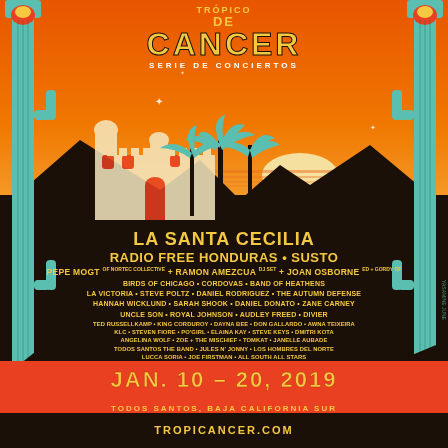DE CANCER
SERIE DE CONCIERTOS
[Figure (illustration): Festival poster illustration with orange sunset sky, palm trees, Spanish colonial building, mountains, and Art Deco cactus column border in teal/cyan colors]
LA SANTA CECILIA
RADIO FREE HONDURAS • SUSTO
PEPE MOGT of NORTEC COLLECTIVE + RAMON AMEZCUA DJ SET + JOAN OSBORNE ED + GORDY of
BIRDS OF CHICAGO • CORDOVAS • BAND OF HEATHENS
LA VICTORIA • STEVE POLTZ • DANIEL RODRIGUEZ • THE AUTUMN DEFENSE
HANNAH WICKLUND • SARAH SHOOK • DANIEL DONATO • ZANE CARNEY
UNCLE SON • ROYAL JOHNSON • AUDLEY FREED • DIVIER
TED RUSSELLKAMP • KING CORDUROY • DAYNA BEE • DON GALLARDO • AWNA TEIXEIRA
KLC • STEVEN FIORE • PO'GIRL • ELAINA KAY • STEVE KEYS • DMITRI KOTA
ANGELINA WOLF • ZOE + THE MISCHIEF • TOMKAT • JANELLE AUBADE
TODOS SANTOS THE BAND • JULES N' JONNY • LOS HOMBRES DEL NORTE
LUCCA SORIA • JOE FIRSTMAN • ALL SOUTH ALL STARS
SAM GYLLENHAAL BAND • Y MUCHAS MAS
HOSTED BY Cordovas
JAN. 10 – 20, 2019
TODOS SANTOS, BAJA CALIFORNIA SUR
TROPICANCER.COM